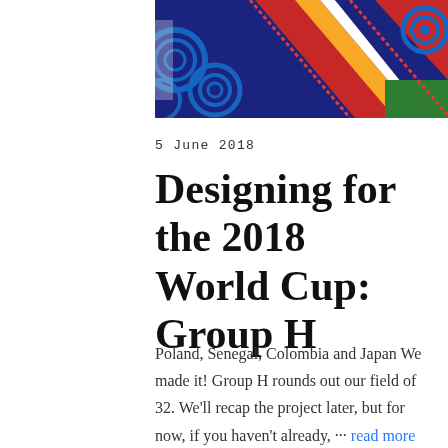[Figure (photo): Colorful geometric African-inspired fabric pattern with navy, red, yellow, white, and green shapes and designs]
5 June 2018
Designing for the 2018 World Cup: Group H
Poland, Senegal, Colombia and Japan We made it! Group H rounds out our field of 32. We'll recap the project later, but for now, if you haven't already, ··· read more